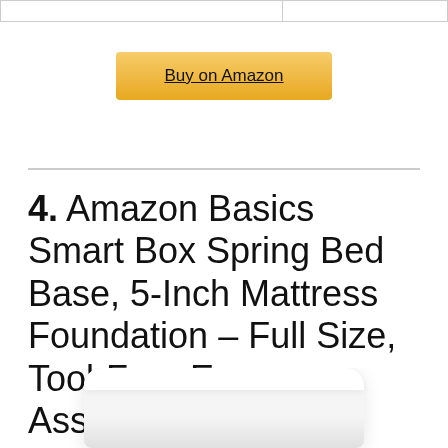[Figure (other): Top partial row of a comparison table with two cells and border, partially visible at top of page]
Buy on Amazon
4. Amazon Basics Smart Box Spring Bed Base, 5-Inch Mattress Foundation – Full Size, Tool-Free Easy Assembly
[Figure (photo): Partial photo of a white mattress box spring base, visible at the bottom of the page]